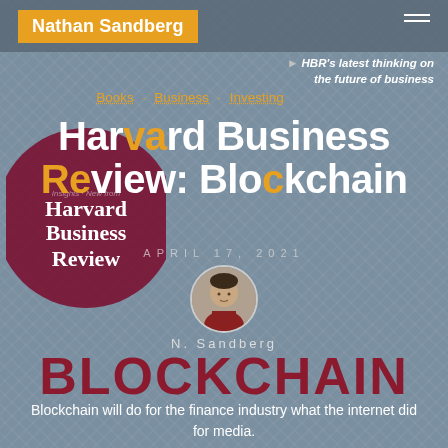Nathan Sandberg
► HBR's latest thinking on the future of business
Books · Business · Investing
Harvard Business Review: Blockchain
APRIL 17, 2021
[Figure (photo): Circular avatar photo of N. Sandberg, a man in a red jacket]
N. Sandberg
BLOCKCHAIN
Blockchain will do for the finance industry what the internet did for media.